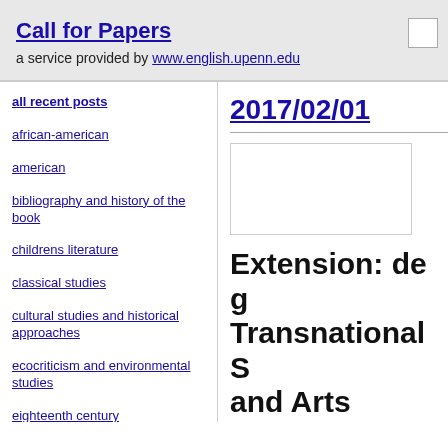Call for Papers
a service provided by www.english.upenn.edu
2017/02/01
all recent posts
african-american
american
bibliography and history of the book
childrens literature
classical studies
cultural studies and historical approaches
ecocriticism and environmental studies
eighteenth century
Extension: de g
Transnational S
and Arts
deadline for submissio